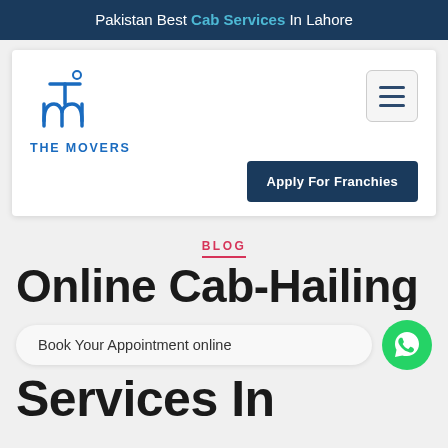Pakistan Best Cab Services In Lahore
[Figure (logo): The Movers logo with stylized TM monogram in blue and text THE MOVERS below]
Apply For Franchies
BLOG
Online Cab-Hailing Services in
Book Your Appointment online